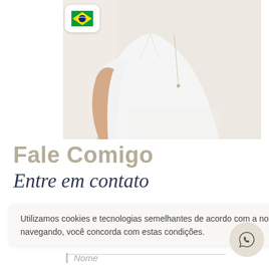[Figure (photo): Photo of a person wearing a white blouse with a small pendant necklace, cropped to show torso and one arm, light neutral background]
Fale Comigo
Entre em contato
Utilizamos cookies e tecnologias semelhantes de acordo com a nossa Política de Privacidade e, ao continuar navegando, você concorda com estas condições.
Nome